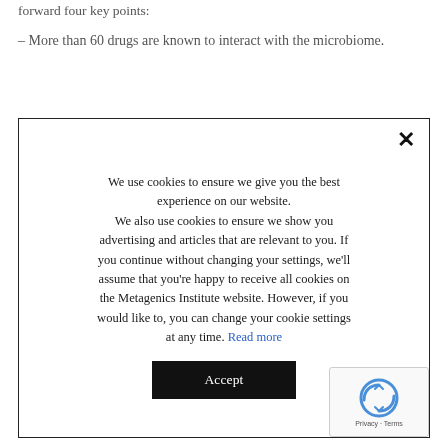forward four key points:
– More than 60 drugs are known to interact with the microbiome.
We use cookies to ensure we give you the best experience on our website. We also use cookies to ensure we show you advertising and articles that are relevant to you. If you continue without changing your settings, we'll assume that you're happy to receive all cookies on the Metagenics Institute website. However, if you would like to, you can change your cookie settings at any time. Read more
Accept